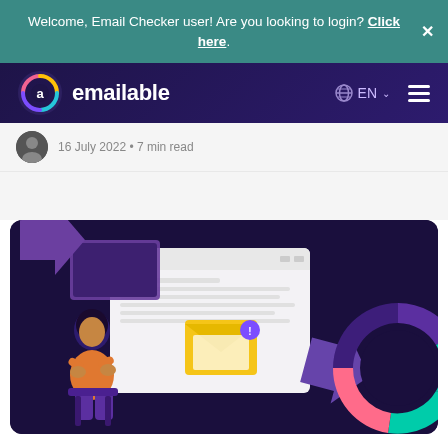Welcome, Email Checker user! Are you looking to login? Click here.
[Figure (screenshot): Emailable website navigation bar with logo (colorful circular icon and 'emailable' text in white), globe icon, EN language selector with dropdown chevron, and hamburger menu icon, all on a dark navy/purple gradient background.]
16 July 2022 • 7 min read
[Figure (illustration): Dark purple background hero illustration showing a woman sitting at a desk looking frustrated at a laptop with a browser window displaying an email envelope with a notification badge, a large purple arrow pointing down-right, and a donut chart with purple, teal/green, and coral/pink segments on the right side.]